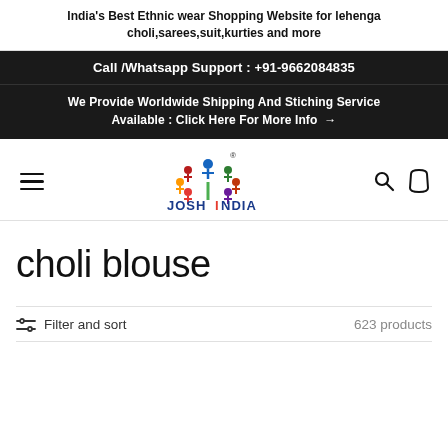India's Best Ethnic wear Shopping Website for lehenga choli,sarees,suit,kurties and more
Call /Whatsapp Support : +91-9662084835
We Provide Worldwide Shipping And Stiching Service Available : Click Here For More Info →
[Figure (logo): Josh India logo with colorful tree made of people figures above text JOSH INDIA in blue with red I]
choli blouse
Filter and sort   623 products